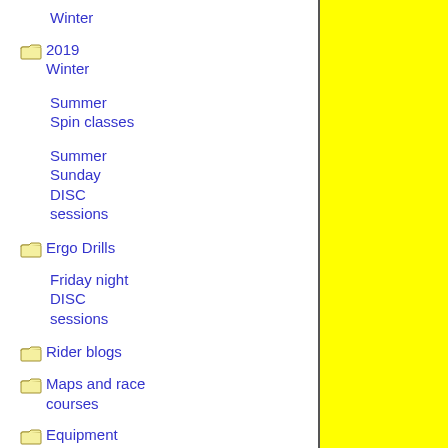Winter
2019 Winter
Summer Spin classes
Summer Sunday DISC sessions
Ergo Drills
Friday night DISC sessions
Rider blogs
Maps and race courses
Equipment Reviews
Journal of Science and Cycling